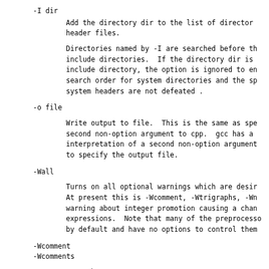-I dir
    Add the directory dir to the list of directories to be searched for header files.

    Directories named by -I are searched before the standard system include directories. If the directory dir is a standard system include directory, the option is ignored to ensure that the default search order for system directories and the special treatment of system headers are not defeated .
-o file
    Write output to file. This is the same as specifying file as the second non-option argument to cpp. gcc has a different interpretation of a second non-option argument, so you should use -o to specify the output file.
-Wall
    Turns on all optional warnings which are desirable for normal code. At present this is -Wcomment, -Wtrigraphs, -Wno-long-long and a warning about integer promotion causing a change of sign in #if expressions. Note that many of the preprocessor's warnings are on by default and have no options to control them.
-Wcomment
-Wcomments
    Warn whenever a comment-start sequence /* appears in a // comment, or whenever a backslash-newline appears in a // comment. (Both forms have the same effect.)